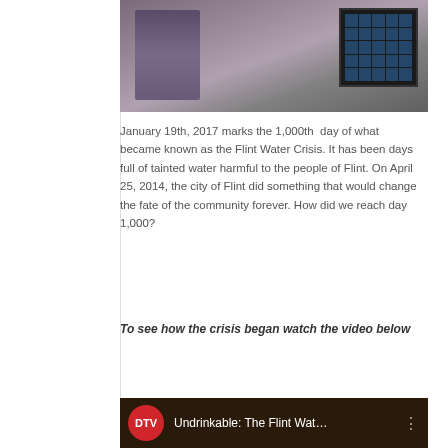[Figure (photo): Photograph of water jugs and a black milk crate on a concrete surface, related to the Flint Water Crisis]
January 19th, 2017 marks the 1,000th day of what became known as the Flint Water Crisis. It has been days full of tainted water harmful to the people of Flint. On April 25, 2014, the city of Flint did something that would change the fate of the community forever. How did we reach day 1,000?
To see how the crisis began watch the video below
[Figure (screenshot): Video thumbnail for 'Undrinkable: The Flint Wat...' with DTV logo]